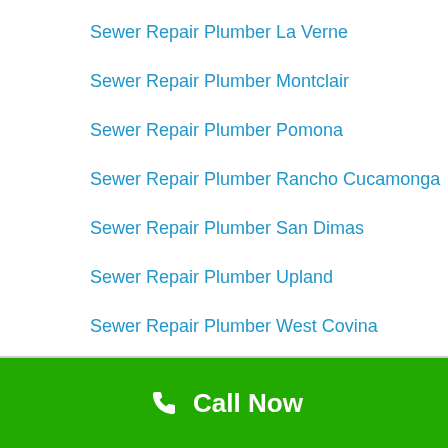Sewer Repair Plumber La Verne
Sewer Repair Plumber Montclair
Sewer Repair Plumber Pomona
Sewer Repair Plumber Rancho Cucamonga
Sewer Repair Plumber San Dimas
Sewer Repair Plumber Upland
Sewer Repair Plumber West Covina
Water Heater Repair Chino
Water Heater Repair Chino Hills
Call Now